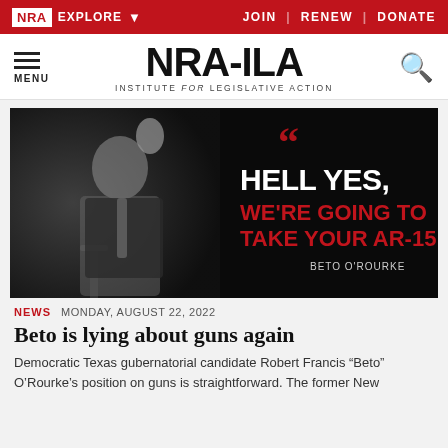NRA EXPLORE  JOIN | RENEW | DONATE
[Figure (logo): NRA-ILA Institute for Legislative Action logo with hamburger menu and search icon]
[Figure (photo): Black and white photo of Beto O'Rourke speaking at a podium with raised fist, overlaid with text quote: HELL YES, WE'RE GOING TO TAKE YOUR AR-15. - BETO O'ROURKE (in red and white bold text on dark background)]
NEWS   MONDAY, AUGUST 22, 2022
Beto is lying about guns again
Democratic Texas gubernatorial candidate Robert Francis “Beto” O’Rourke’s position on guns is straightforward. The former New